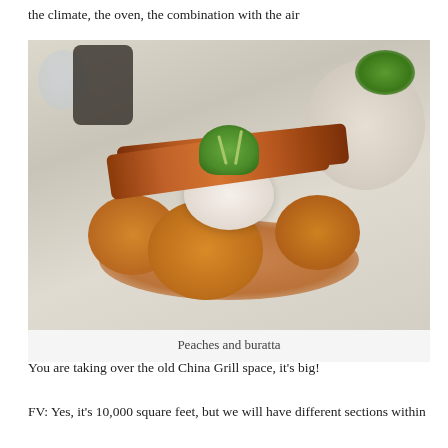the climate, the oven, the combination with the air
[Figure (photo): A plated dish showing peaches and buratta with a crispy pork belly strip on top, garnished with microgreens and sprouts, served on a white plate with a savory sauce.]
Peaches and buratta
You are taking over the old China Grill space, it's big!
FV: Yes, it's 10,000 square feet, but we will have different sections within